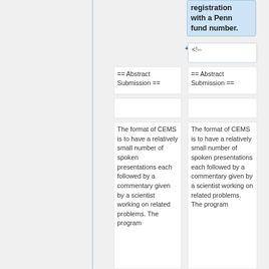registration with a Penn fund number.
<!--
== Abstract Submission ==
== Abstract Submission ==
The format of CEMS is to have a relatively small number of spoken presentations each followed by a commentary given by a scientist working on related problems. The program
The format of CEMS is to have a relatively small number of spoken presentations each followed by a commentary given by a scientist working on related problems. The program